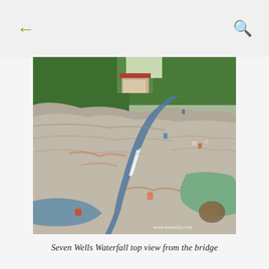← (back) | (search)
[Figure (photo): Aerial top view of Seven Wells Waterfall in Langkawi, Malaysia. The image shows water flowing over smooth granite rock formations into natural pools. Several visitors can be seen swimming and standing on the rocks. Lush green jungle is visible in the background along with a small shelter/gazebo. A watermark reads 'www.imemily.com' in the bottom right corner.]
Seven Wells Waterfall top view from the bridge